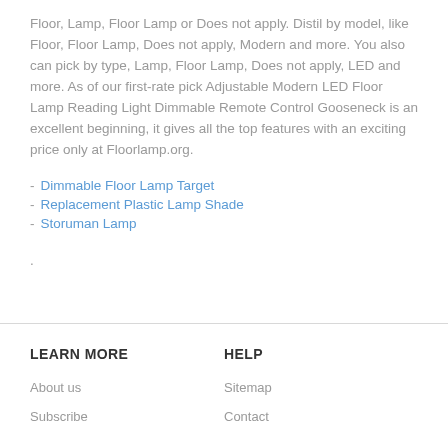Floor, Lamp, Floor Lamp or Does not apply. Distil by model, like Floor, Floor Lamp, Does not apply, Modern and more. You also can pick by type, Lamp, Floor Lamp, Does not apply, LED and more. As of our first-rate pick Adjustable Modern LED Floor Lamp Reading Light Dimmable Remote Control Gooseneck is an excellent beginning, it gives all the top features with an exciting price only at Floorlamp.org.
- Dimmable Floor Lamp Target
- Replacement Plastic Lamp Shade
- Storuman Lamp
.
LEARN MORE | HELP | About us | Sitemap | Subscribe | Contact